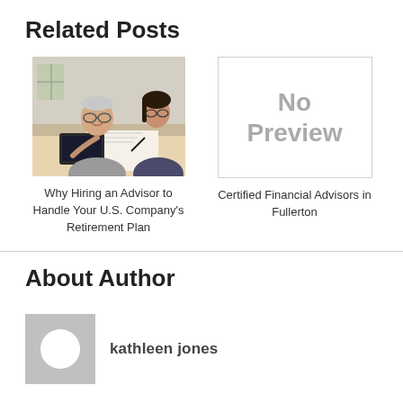Related Posts
[Figure (photo): An elderly man with glasses smiling while a younger woman helps him review documents, seated at a table indoors.]
Why Hiring an Advisor to Handle Your U.S. Company's Retirement Plan
[Figure (other): No Preview placeholder image with gray border]
Certified Financial Advisors in Fullerton
About Author
[Figure (photo): Author avatar placeholder with gray background and white circle]
kathleen jones